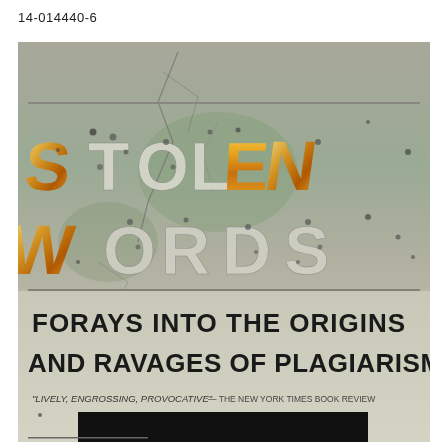14-014440-6
[Figure (photo): Book cover of 'Stolen Words: Forays into the Origins and Ravages of Plagiarism'. The cover shows large stylized letters spelling 'STOLEN WORDS' on a cracked stone/concrete background. Some letters appear as white dotted/bullet-hole style text while others (S, T, O, L, E, N and W) appear in gold metallic 3D style. Below the title text reads 'FORAYS INTO THE ORIGINS AND RAVAGES OF PLAGIARISM' in bold black uppercase letters on a lighter background. At the bottom a partial quote reads 'LIVELY, ENGROSSING, PROVOCATIVE' - THE NEW YORK TIMES BOOK REVIEW, with a black redacted bar at the bottom.]